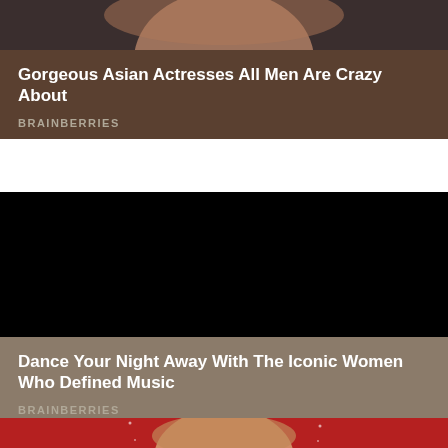[Figure (photo): Partial view of an Asian woman's face against dark background, cropped at top]
Gorgeous Asian Actresses All Men Are Crazy About
BRAINBERRIES
[Figure (photo): Solid black rectangle — image not loaded or dark photo]
Dance Your Night Away With The Iconic Women Who Defined Music
BRAINBERRIES
[Figure (photo): Partial view of a woman with light brown hair against a red background, cropped at bottom]